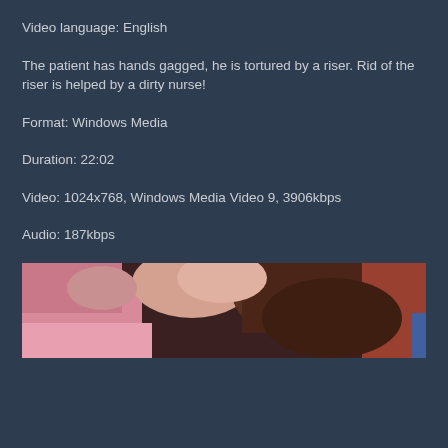Video language: English
The patient has hands gagged, he is tortured by a riser. Rid of the riser is helped by a dirty nurse!
Format: Windows Media
Duration: 22:02
Video: 1024x768, Windows Media Video 9, 3906kbps
Audio: 187kbps
[Figure (photo): Cropped thumbnail image showing animated/3D characters — close-up of faces and hair in pinkish and brown tones against a dark background.]